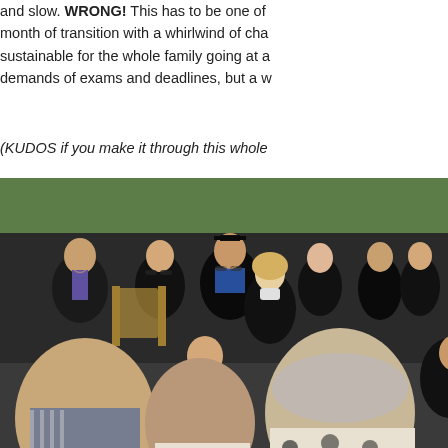and slow. WRONG! This has to be one of month of transition with a whirlwind of cha sustainable for the whole family going at a demands of exams and deadlines, but a w
(KUDOS if you make it through this whole
[Figure (photo): Outdoor graduation ceremony with people seated in academic robes including graduates and faculty, with audience members in the foreground observing the ceremony]